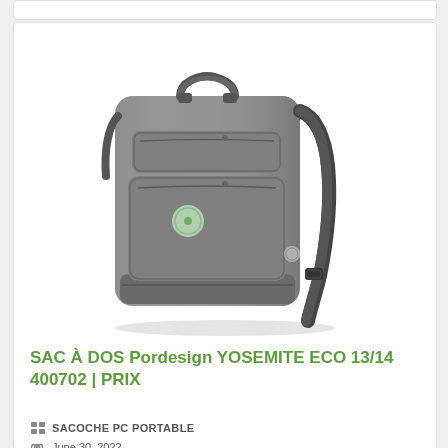[Figure (photo): Gray Pordesign Yosemite Eco backpack showing front and side view with green circular logo badge, top handles, shoulder strap, and zipper compartments]
SAC À DOS Pordesign YOSEMITE ECO 13/14 400702 | PRIX
SACOCHE PC PORTABLE
June 30, 2022